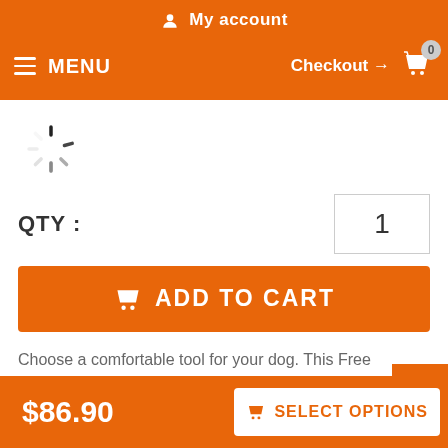My account
MENU   Checkout → 🛒 0
[Figure (illustration): Loading spinner icon (circular spokes pattern)]
QTY :   1
ADD TO CART
Choose a comfortable tool for your dog. This Free Breathing Dog Muzzle allows the canine to breathe freely and provides the anti-barking effect.
Current Reviews:   Add Your Review
$86.90
SELECT OPTIONS